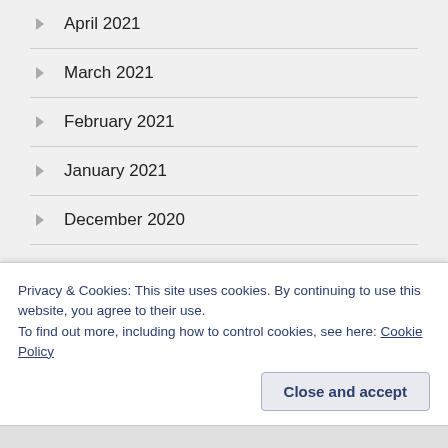April 2021
March 2021
February 2021
January 2021
December 2020
November 2020
October 2020
September 2020
Privacy & Cookies: This site uses cookies. By continuing to use this website, you agree to their use.
To find out more, including how to control cookies, see here: Cookie Policy
Close and accept